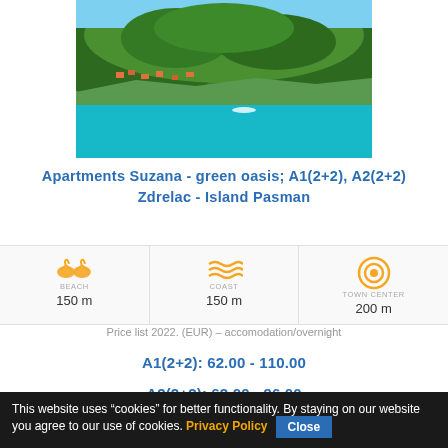[Figure (photo): Aerial photo of Zdrelac, Island Pasman, Croatia, showing a coastal village with red-roofed houses surrounded by dense green forest and clear turquoise water in the bay.]
Apartments Suzana - green oasis; A1(2+2), A2(2+2)
Zdrelac - Island Pasman
[Figure (infographic): Three icons showing distances: Beach 150 m (flip-flop icon), Coast 150 m (wave icon), Town Center 200 m (target/bullseye icon), all in orange on light grey background.]
Price list 2022. (EUR) – accomodation/overnight
A1(2+2): 62.00 - 110.00
A2(2+2): 62.00 - 96.00
This website uses "cookies" for better functionality. By staying on our website you agree to our use of cookies. Privacy Policy  Close